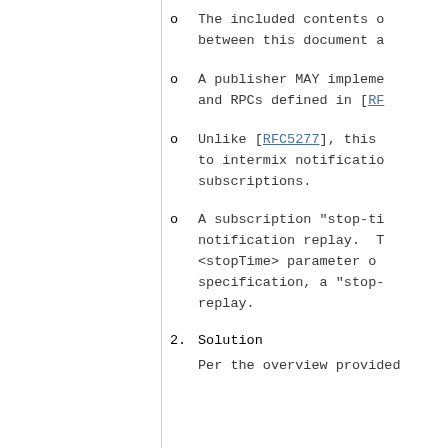The included contents o... between this document a...
A publisher MAY impleme... and RPCs defined in [RF...
Unlike [RFC5277], this ... to intermix notificatio... subscriptions.
A subscription "stop-ti... notification replay. T... <stopTime> parameter o... specification, a "stop-... replay.
2.  Solution
Per the overview provided...